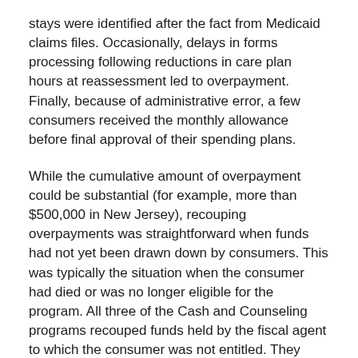stays were identified after the fact from Medicaid claims files. Occasionally, delays in forms processing following reductions in care plan hours at reassessment led to overpayment. Finally, because of administrative error, a few consumers received the monthly allowance before final approval of their spending plans.
While the cumulative amount of overpayment could be substantial (for example, more than $500,000 in New Jersey), recouping overpayments was straightforward when funds had not yet been drawn down by consumers. This was typically the situation when the consumer had died or was no longer eligible for the program. All three of the Cash and Counseling programs recouped funds held by the fiscal agent to which the consumer was not entitled. They required the fiscal agent to return the funds to the Medicaid program and processed adjustments to correct Medicaid claims files.